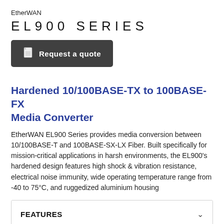EtherWAN
EL900 SERIES
[Figure (other): Dark rounded rectangle button with document icon and text 'Request a quote']
Hardened 10/100BASE-TX to 100BASE-FX Media Converter
EtherWAN EL900 Series provides media conversion between 10/100BASE-T and 100BASE-SX-LX Fiber. Built specifically for mission-critical applications in harsh environments, the EL900's hardened design features high shock & vibration resistance, electrical noise immunity, wide operating temperature range from -40 to 75°C, and ruggedized aluminium housing
| Section | Control |
| --- | --- |
| FEATURES | ∨ |
| CONFIGURATOR | ∨ |